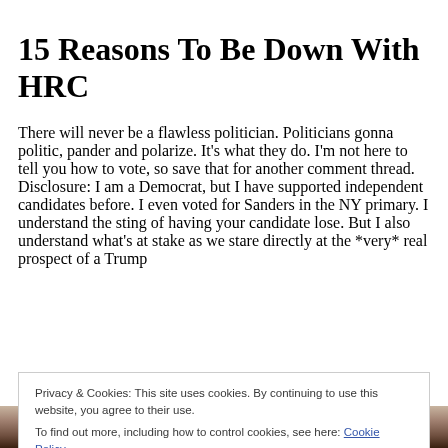15 Reasons To Be Down With HRC
There will never be a flawless politician. Politicians gonna politic, pander and polarize. It's what they do. I'm not here to tell you how to vote, so save that for another comment thread. Disclosure: I am a Democrat, but I have supported independent candidates before. I even voted for Sanders in the NY primary. I understand the sting of having your candidate lose. But I also understand what's at stake as we stare directly at the *very* real prospect of a Trump
Privacy & Cookies: This site uses cookies. By continuing to use this website, you agree to their use.
To find out more, including how to control cookies, see here: Cookie Policy
[Figure (photo): Bottom strip showing a partial photo of a person (likely Hillary Clinton), cropped at the bottom of the page.]